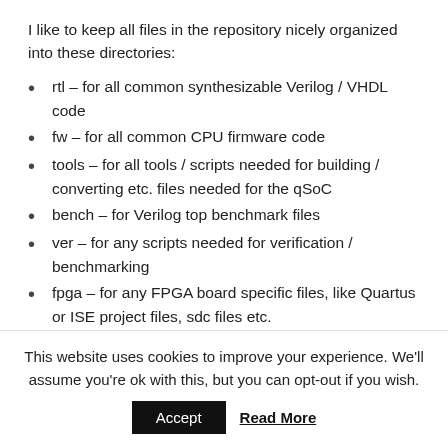I like to keep all files in the repository nicely organized into these directories:
rtl – for all common synthesizable Verilog / VHDL code
fw – for all common CPU firmware code
tools – for all tools / scripts needed for building / converting etc. files needed for the qSoC
bench – for Verilog top benchmark files
ver – for any scripts needed for verification / benchmarking
fpga – for any FPGA board specific files, like Quartus or ISE project files, sdc files etc.
The directory structure might change in the future, as I'd
This website uses cookies to improve your experience. We'll assume you're ok with this, but you can opt-out if you wish. Accept Read More